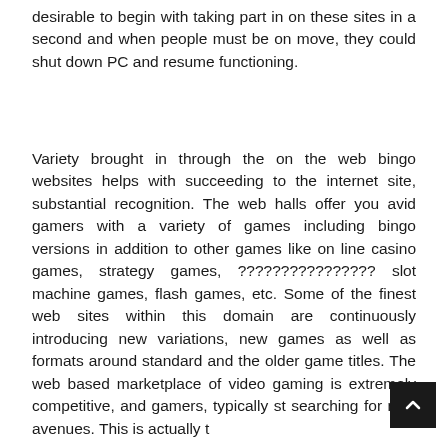desirable to begin with taking part in on these sites in a second and when people must be on move, they could shut down PC and resume functioning.
Variety brought in through the on the web bingo websites helps with succeeding to the internet site, substantial recognition. The web halls offer you avid gamers with a variety of games including bingo versions in addition to other games like on line casino games, strategy games, ???????????????? slot machine games, flash games, etc. Some of the finest web sites within this domain are continuously introducing new variations, new games as well as formats around standard and the older game titles. The web based marketplace of video gaming is extremely competitive, and gamers, typically st searching for new avenues. This is actually t